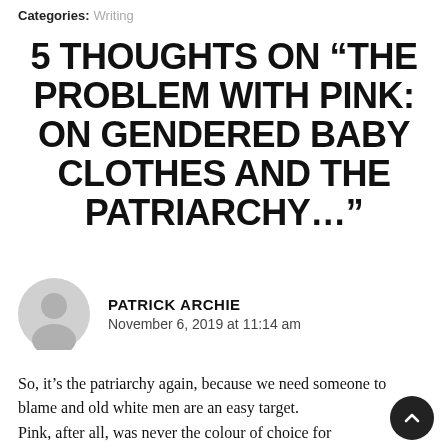Categories: Writing
5 THOUGHTS ON “THE PROBLEM WITH PINK: ON GENDERED BABY CLOTHES AND THE PATRIARCHY…”
PATRICK ARCHIE
November 6, 2019 at 11:14 am
So, it’s the patriarchy again, because we need someone to blame and old white men are an easy target.
Pink, after all, was never the colour of choice for